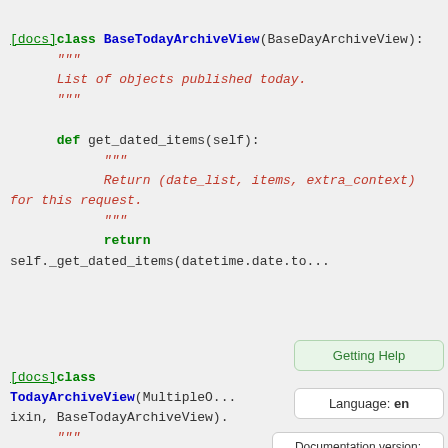[docs]class BaseTodayArchiveView(BaseDayArchiveView):
    """
    List of objects published today.
    """

    def get_dated_items(self):
        """
        Return (date_list, items, extra_context) for this request.
        """
        return
        self._get_dated_items(datetime.date.to...
[docs]class TodayArchiveView(MultipleO... ixin, BaseTodayArchiveView).
    """
Getting Help
Language: en
Documentation version: 1.11